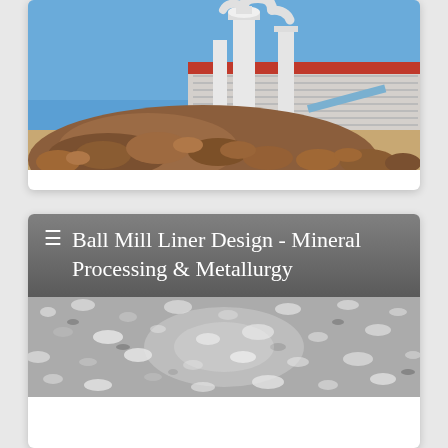[Figure (photo): Industrial mineral processing facility with white dust collector/cyclone equipment towers and conveyor systems, large pile of brown rocks/ore in foreground, warehouse building with red roof in background, blue sky]
☰ Ball Mill Liner Design - Mineral Processing & Metallurgy
[Figure (photo): Close-up texture of crushed or ground mineral material, silvery-grey granular surface with reflective particles]